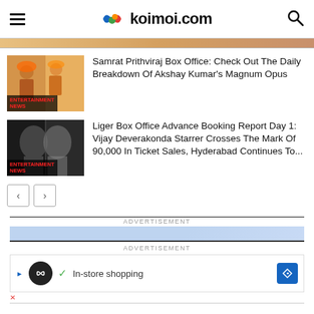koimoi.com
[Figure (screenshot): Partial image strip at top of news feed]
Samrat Prithviraj Box Office: Check Out The Daily Breakdown Of Akshay Kumar's Magnum Opus
ENTERTAINMENT NEWS
Liger Box Office Advance Booking Report Day 1: Vijay Deverakonda Starrer Crosses The Mark Of 90,000 In Ticket Sales, Hyderabad Continues To...
ENTERTAINMENT NEWS
ADVERTISEMENT
ADVERTISEMENT
In-store shopping